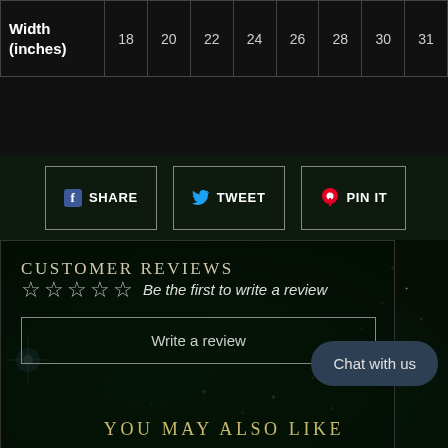| Width
(inches) | 18 | 20 | 22 | 24 | 26 | 28 | 30 | 31 |
| --- | --- | --- | --- | --- | --- | --- | --- | --- |
|  |  |  |  |  |  |  |  |  |
[Figure (infographic): Social sharing buttons: SHARE (Facebook), TWEET (Twitter), PIN IT (Pinterest)]
CUSTOMER REVIEWS
☆☆☆☆☆ Be the first to write a review
Write a review
Chat with us
YOU MAY ALSO LIKE